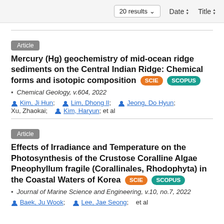20 results   Date   Title
Article
Mercury (Hg) geochemistry of mid-ocean ridge sediments on the Central Indian Ridge: Chemical forms and isotopic composition [SCIE] [SCOPUS]
Chemical Geology, v.604, 2022
Kim, Ji Hun;   Lim, Dhong Il;   Jeong, Do Hyun;   Xu, Zhaokai;   Kim, Haryun;  et al
Article
Effects of Irradiance and Temperature on the Photosynthesis of the Crustose Coralline Algae Pneophyllum fragile (Corallinales, Rhodophyta) in the Coastal Waters of Korea [SCIE] [SCOPUS]
Journal of Marine Science and Engineering, v.10, no.7, 2022
Baek, Ju Wook;   Lee, Jae Seong;   et al